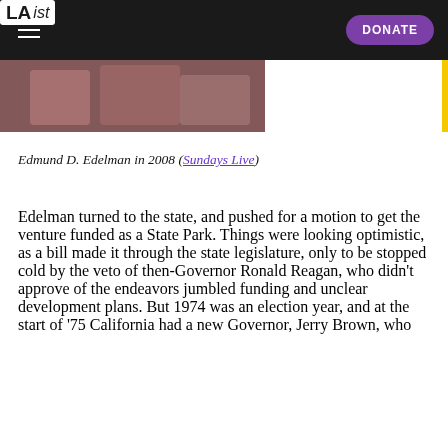LAist — DONATE
[Figure (photo): Partial photo of Edmund D. Edelman in 2008 at Sundays Live event, cropped at top of page]
Edmund D. Edelman in 2008 (Sundays Live)
Edelman turned to the state, and pushed for a motion to get the venture funded as a State Park. Things were looking optimistic, as a bill made it through the state legislature, only to be stopped cold by the veto of then-Governor Ronald Reagan, who didn't approve of the endeavors jumbled funding and unclear development plans. But 1974 was an election year, and at the start of '75 California had a new Governor, Jerry Brown, who